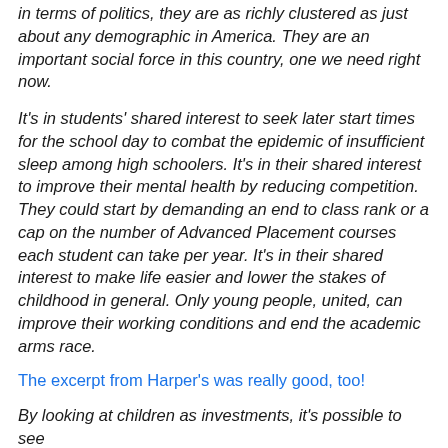in terms of politics, they are as richly clustered as just about any demographic in America. They are an important social force in this country, one we need right now.
It’s in students’ shared interest to seek later start times for the school day to combat the epidemic of insufficient sleep among high schoolers. It’s in their shared interest to improve their mental health by reducing competition. They could start by demanding an end to class rank or a cap on the number of Advanced Placement courses each student can take per year. It’s in their shared interest to make life easier and lower the stakes of childhood in general. Only young people, united, can improve their working conditions and end the academic arms race.
The excerpt from Harper’s was really good, too!
By looking at children as investments, it’s possible to see